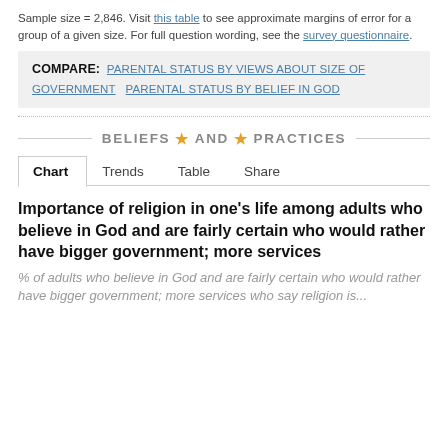Sample size = 2,846. Visit this table to see approximate margins of error for a group of a given size. For full question wording, see the survey questionnaire.
COMPARE: PARENTAL STATUS BY VIEWS ABOUT SIZE OF GOVERNMENT   PARENTAL STATUS BY BELIEF IN GOD
BELIEFS AND PRACTICES
Chart   Trends   Table   Share
Importance of religion in one's life among adults who believe in God and are fairly certain who would rather have bigger government; more services
% of adults who believe in God and are fairly certain who would rather have bigger government; more services who say religion is...